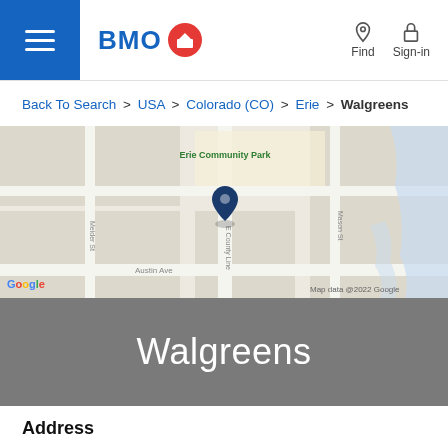BMO | Find | Sign-in
Back To Search > USA > Colorado (CO) > Erie > Walgreens
[Figure (map): Google Maps showing Erie Community Park area with a blue location pin at E County Line, near Mason St, Melder St, and Austin Ave. Map data @2022 Google.]
Walgreens
Address